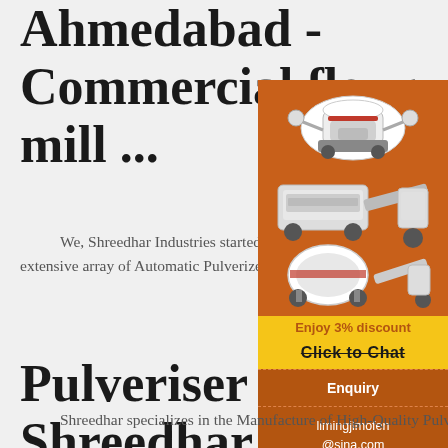Ahmedabad - Commercial flour mill ...
We, Shreedhar Industries started in the year 2000, are one of the foremost Manufacturers and W... of an extensive array of Automatic Pulverizer ... Domestic Flour Mill, Open Type Flour Mill, Sta... Steel Flour Mill etc.
Pulveriser - Shreedhar Pulver... Manufacturer from Ahmedabad
[Figure (illustration): Orange advertisement sidebar showing industrial machinery (crusher/mill equipment illustrations), discount offer, chat button, enquiry section, and email contact on orange background]
Shreedhar specializes in the Manufacture of High-Quality Pulverizer & Masala Machinery. We...